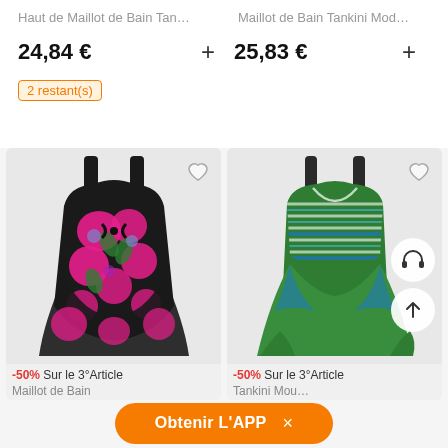Haut de Maillot de Bain Tan…
Maillot de Bain Tankini Mod…
24,84 €
+
25,83 €
+
2 restant(s)
[Figure (photo): Floral black and pink swimsuit tankini top]
-50% Sur le 3°Article
Maillot de Bain
[Figure (photo): Green striped swimsuit tankini top with asymmetric hem]
-50% Sur le 3°Article
Tankini Mou…
Obtenir L'APP  ×